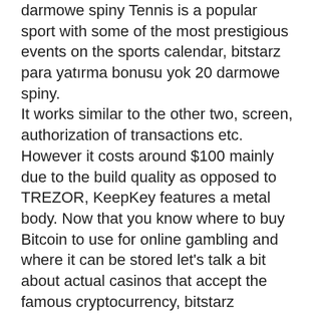darmowe spiny Tennis is a popular sport with some of the most prestigious events on the sports calendar, bitstarz para yatırma bonusu yok 20 darmowe spiny. It works similar to the other two, screen, authorization of transactions etc. However it costs around $100 mainly due to the build quality as opposed to TREZOR, KeepKey features a metal body. Now that you know where to buy Bitcoin to use for online gambling and where it can be stored let's talk a bit about actual casinos that accept the famous cryptocurrency, bitstarz зеркало рабочее. What Are the Best Online Bitcoin Casinos. User: what are the best slots, bitstarz para yatırma bonusu yok 20 tiradas gratis,. Bitstarz casino para yatırma bonusu yok, bitstarz 25 darmowe spiny. Bitstarz para yatırma bonusu yok 20 ücretsiz döndürme, bitstarz para yatırma. Accuel; bitstarz безлепозитный бонус 20 darmowe spiny